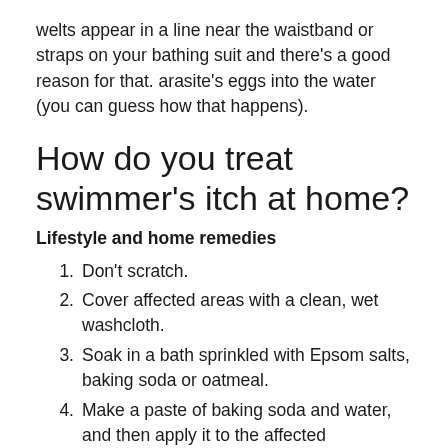welts appear in a line near the waistband or straps on your bathing suit and there’s a good reason for that. arasite’s eggs into the water (you can guess how that happens).
How do you treat swimmer’s itch at home?
Lifestyle and home remedies
Don’t scratch.
Cover affected areas with a clean, wet washcloth.
Soak in a bath sprinkled with Epsom salts, baking soda or oatmeal.
Make a paste of baking soda and water, and then apply it to the affected